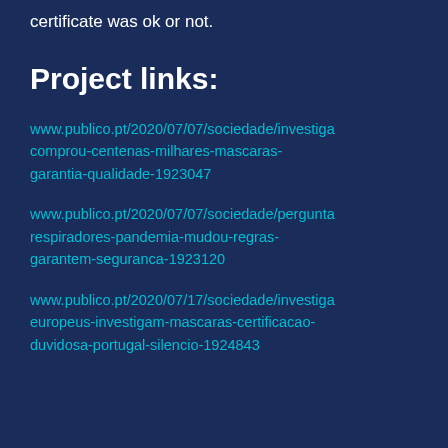certificate was ok or not.
Project links:
www.publico.pt/2020/07/07/sociedade/investiga comprou-centenas-milhares-mascaras-garantia-qualidade-1923047
www.publico.pt/2020/07/07/sociedade/pergunta respiradores-pandemia-mudou-regras-garantem-seguranca-1923120
www.publico.pt/2020/07/17/sociedade/investiga europeus-investigam-mascaras-certificacao-duvidosa-portugal-silencio-1924843